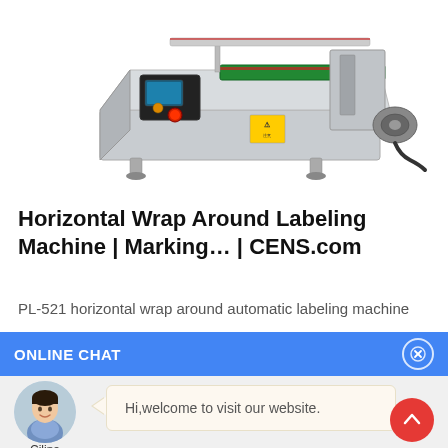[Figure (photo): Horizontal wrap around labeling machine (PL-521), a stainless steel industrial labeling machine with conveyor belt and control panel, photographed on white background.]
Horizontal Wrap Around Labeling Machine | Marking… | CENS.com
PL-521 horizontal wrap around automatic labeling machine
ONLINE CHAT
Hi,welcome to visit our website.
Cilina